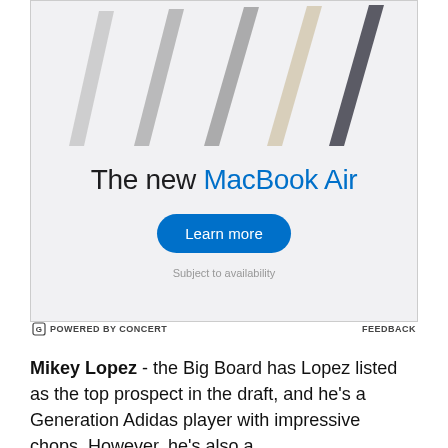[Figure (photo): Advertisement banner for Apple MacBook Air showing multiple laptop silhouettes diagonally arranged on a light gray background, with text 'The new MacBook Air', a blue 'Learn more' button, and 'Subject to availability' text. Footer shows 'POWERED BY CONCERT' and 'FEEDBACK'.]
Mikey Lopez - the Big Board has Lopez listed as the top prospect in the draft, and he's a Generation Adidas player with impressive chops. However, he's also a